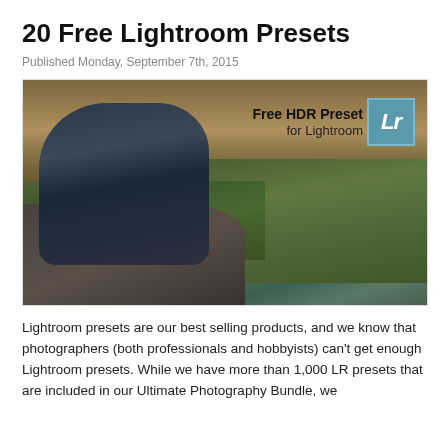20 Free Lightroom Presets
Published Monday, September 7th, 2015
[Figure (photo): Man with red turban playing guitar on a rock outdoors with HDR landscape background. Overlay text reads 'Free HDR Preset for Lightroom' with Adobe Lightroom logo box.]
Lightroom presets are our best selling products, and we know that photographers (both professionals and hobbyists) can't get enough Lightroom presets. While we have more than 1,000 LR presets that are included in our Ultimate Photography Bundle, we